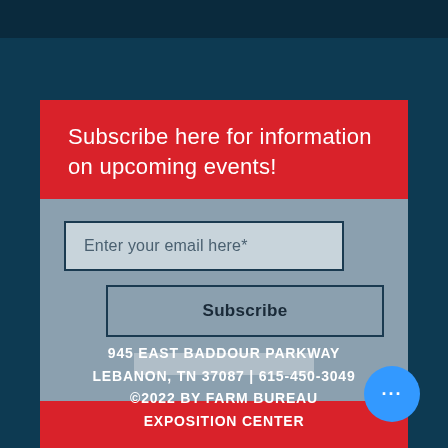Subscribe here for information on upcoming events!
Enter your email here*
Subscribe
945 EAST BADDOUR PARKWAY
LEBANON, TN 37087 | 615-450-3049
©2022 BY FARM BUREAU
EXPOSITION CENTER